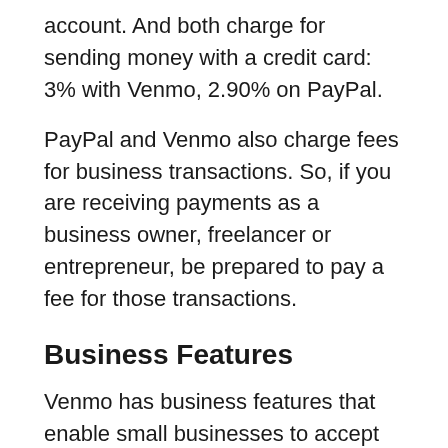account. And both charge for sending money with a credit card: 3% with Venmo, 2.90% on PayPal.
PayPal and Venmo also charge fees for business transactions. So, if you are receiving payments as a business owner, freelancer or entrepreneur, be prepared to pay a fee for those transactions.
Business Features
Venmo has business features that enable small businesses to accept Venmo payments in person or online, using QR codes for point of sale. You can set up a Venmo business profile for your small business and get paid via the app in the same way that people use Venmo to pay their friends.